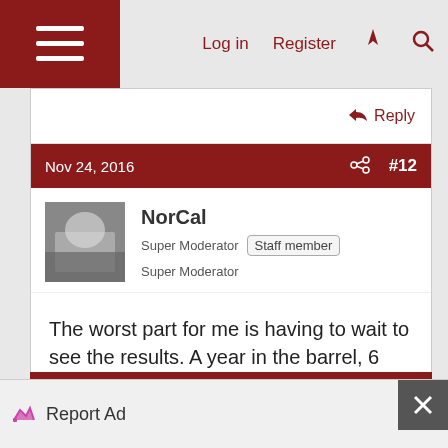Log in  Register
Nov 24, 2016  #12
NorCal
Super Moderator  Staff member  Super Moderator
The worst part for me is having to wait to see the results. A year in the barrel, 6 months in the bottle.
Donatelo, BryanM362, Rocky and 1 other person
Report Ad